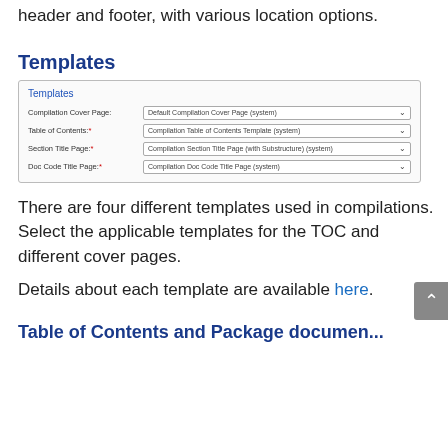header and footer, with various location options.
Templates
[Figure (screenshot): Screenshot of a Templates configuration panel with four dropdown fields: Compilation Cover Page (Default Compilation Cover Page (system)), Table of Contents* (Compilation Table of Contents Template (system)), Section Title Page* (Compilation Section Title Page (with Substructure) (system)), Doc Code Title Page* (Compilation Doc Code Title Page (system))]
There are four different templates used in compilations. Select the applicable templates for the TOC and different cover pages.
Details about each template are available here.
Table of Contents and Package document...